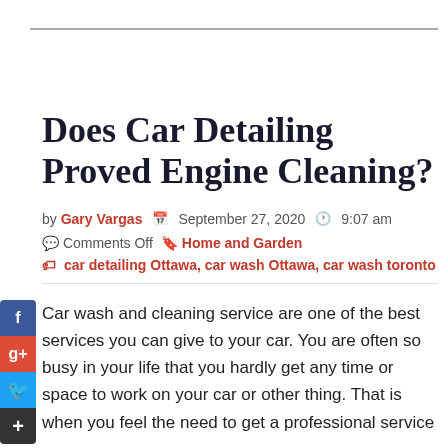Does Car Detailing Proved Engine Cleaning?
by Gary Vargas  September 27, 2020  9:07 am
Comments Off  Home and Garden
car detailing Ottawa, car wash Ottawa, car wash toronto
Car wash and cleaning service are one of the best services you can give to your car. You are often so busy in your life that you hardly get any time or space to work on your car or other thing. That is when you feel the need to get a professional service